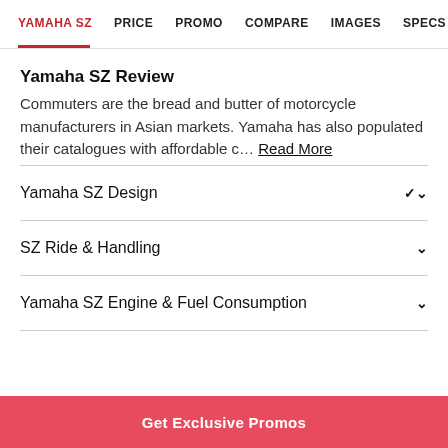YAMAHA SZ  PRICE  PROMO  COMPARE  IMAGES  SPECS  COLOR
Yamaha SZ Review
Commuters are the bread and butter of motorcycle manufacturers in Asian markets. Yamaha has also populated their catalogues with affordable c... Read More
Yamaha SZ Design
SZ Ride & Handling
Yamaha SZ Engine & Fuel Consumption
Get Exclusive Promos